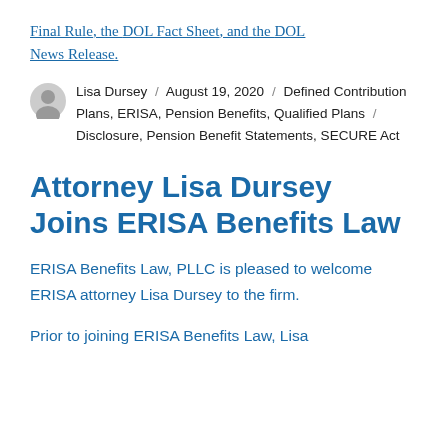Final Rule, the DOL Fact Sheet, and the DOL News Release.
Lisa Dursey / August 19, 2020 / Defined Contribution Plans, ERISA, Pension Benefits, Qualified Plans / Disclosure, Pension Benefit Statements, SECURE Act
Attorney Lisa Dursey Joins ERISA Benefits Law
ERISA Benefits Law, PLLC is pleased to welcome ERISA attorney Lisa Dursey to the firm.
Prior to joining ERISA Benefits Law, Lisa